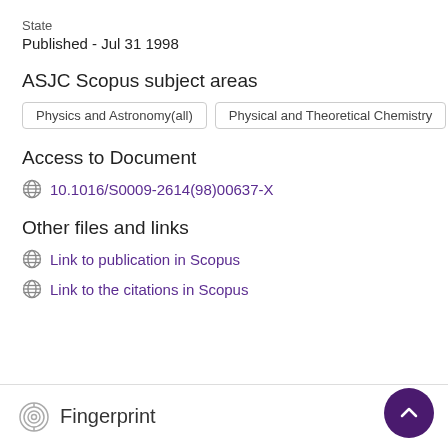State
Published - Jul 31 1998
ASJC Scopus subject areas
Physics and Astronomy(all)
Physical and Theoretical Chemistry
Access to Document
10.1016/S0009-2614(98)00637-X
Other files and links
Link to publication in Scopus
Link to the citations in Scopus
Fingerprint